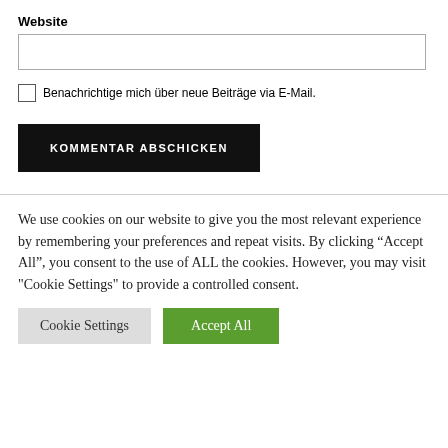Website
Benachrichtige mich über neue Beiträge via E-Mail.
KOMMENTAR ABSCHICKEN
We use cookies on our website to give you the most relevant experience by remembering your preferences and repeat visits. By clicking “Accept All”, you consent to the use of ALL the cookies. However, you may visit "Cookie Settings" to provide a controlled consent.
Cookie Settings
Accept All